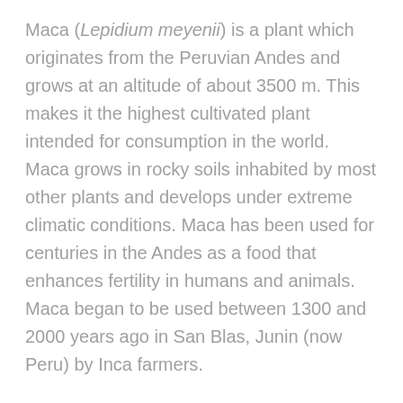Maca (Lepidium meyenii) is a plant which originates from the Peruvian Andes and grows at an altitude of about 3500 m. This makes it the highest cultivated plant intended for consumption in the world. Maca grows in rocky soils inhabited by most other plants and develops under extreme climatic conditions. Maca has been used for centuries in the Andes as a food that enhances fertility in humans and animals. Maca began to be used between 1300 and 2000 years ago in San Blas, Junin (now Peru) by Inca farmers.
Maca is rich in amino acids, nutrients, fatty acids, vitamins and minerals. Maca contains almost all of the essential amino acids, including those that provide sexual function and fertility. Fatty acids: Twenty important for the body was found in Maca. Saturated fatty acids are 40% and unsaturated fatty acids are about 55%. Maca also contains a multitude of vitamins and minerals, sterols, and also unique to Maca Macaenesa and macamides.